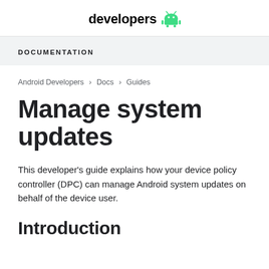developers
DOCUMENTATION
Android Developers > Docs > Guides
Manage system updates
This developer's guide explains how your device policy controller (DPC) can manage Android system updates on behalf of the device user.
Introduction